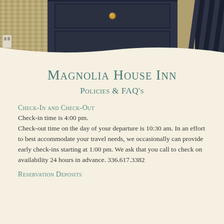[Figure (photo): Photo of a dark navy blue bureau/dresser with a brass drawer pull, flanked by burlap textured panels and a striped chair partially visible on the right]
Magnolia House Inn
Policies & FAQ's
Check-In and Check-Out
Check-in time is 4:00 pm. Check-out time on the day of your departure is 10:30 am. In an effort to best accommodate your travel needs, we occasionally can provide early check-ins starting at 1:00 pm. We ask that you call to check on availability 24 hours in advance. 336.617.3382
Reservation Deposits